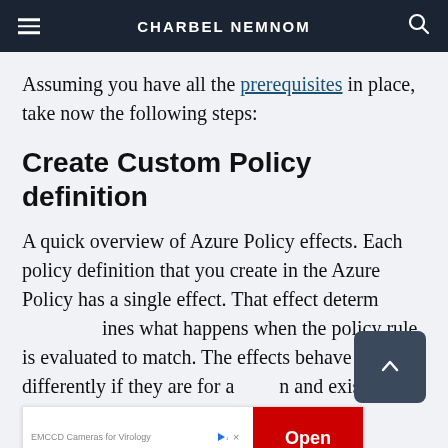CHARBEL NEMNOM
Assuming you have all the prerequisites in place, take now the following steps:
Create Custom Policy definition
A quick overview of Azure Policy effects. Each policy definition that you create in the Azure Policy has a single effect. That effect determines what happens when the policy rule is evaluated to match. The effects behave differently if they are for a new or existing resource.